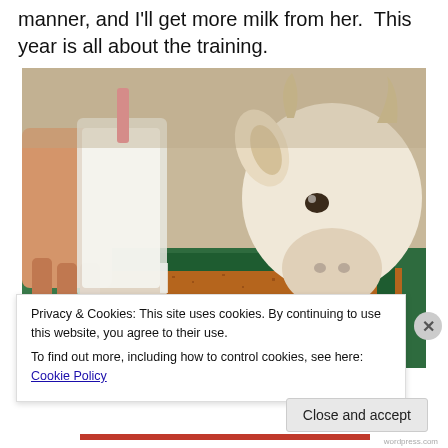manner, and I'll get more milk from her.  This year is all about the training.
[Figure (photo): A white goat looking into a green feeding tray filled with grain, while a hand pours milk from a plastic container into the tray.]
Privacy & Cookies: This site uses cookies. By continuing to use this website, you agree to their use.
To find out more, including how to control cookies, see here: Cookie Policy